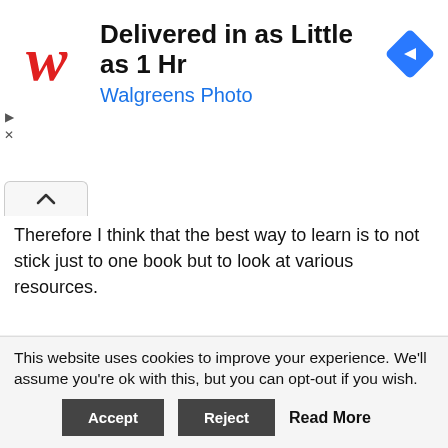[Figure (screenshot): Walgreens Photo advertisement banner: red cursive 'W' logo, text 'Delivered in as Little as 1 Hr' in bold black, 'Walgreens Photo' in blue, blue diamond navigation icon on right, ad controls (play/close) on left]
Therefore I think that the best way to learn is to not stick just to one book but to look at various resources.
List of Human Anatomy Books for Artists
This website uses cookies to improve your experience. We'll assume you're ok with this, but you can opt-out if you wish.
Accept   Reject   Read More